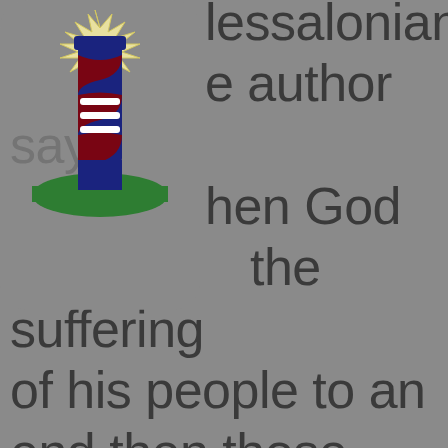[Figure (logo): Lighthouse logo with a blue and dark red striped lighthouse on green ground, with yellow starburst/light effect at top, and three white horizontal lines in the middle of the lighthouse]
Thessalonians the author says when God the suffering of his people to an end then those who persecuted his people will suffer the punishment of